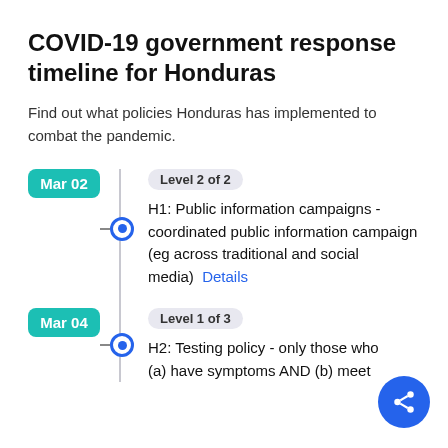COVID-19 government response timeline for Honduras
Find out what policies Honduras has implemented to combat the pandemic.
Mar 02 — Level 2 of 2 — H1: Public information campaigns - coordinated public information campaign (eg across traditional and social media) Details
Mar 04 — Level 1 of 3 — H2: Testing policy - only those who (a) have symptoms AND (b) meet